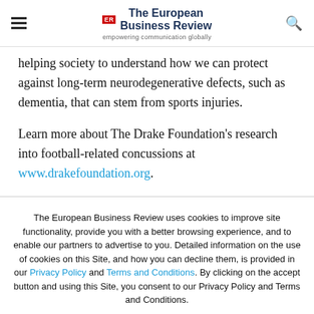The European Business Review — empowering communication globally
helping society to understand how we can protect against long-term neurodegenerative defects, such as dementia, that can stem from sports injuries.
Learn more about The Drake Foundation's research into football-related concussions at www.drakefoundation.org.
The European Business Review uses cookies to improve site functionality, provide you with a better browsing experience, and to enable our partners to advertise to you. Detailed information on the use of cookies on this Site, and how you can decline them, is provided in our Privacy Policy and Terms and Conditions. By clicking on the accept button and using this Site, you consent to our Privacy Policy and Terms and Conditions.